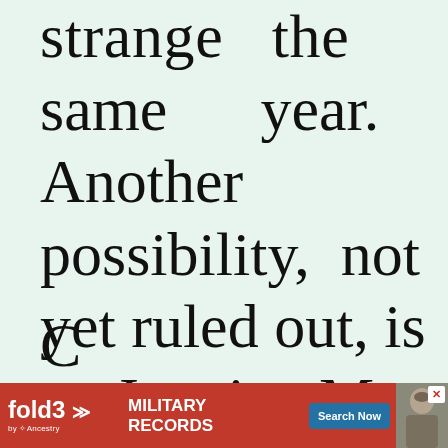…strange the same year. Another possibility, not yet ruled out, is a Jennie M. Dickenson age 37 in the 1870 C…
[Figure (screenshot): Advertisement banner for fold3 by Ancestry — Military Records, Search Now button, with photo of a soldier]